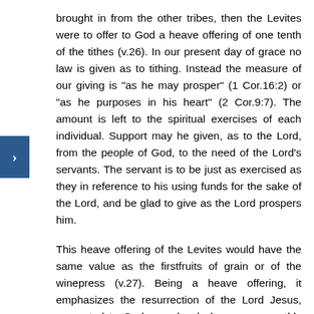brought in from the other tribes, then the Levites were to offer to God a heave offering of one tenth of the tithes (v.26). In our present day of grace no law is given as to tithing. Instead the measure of our giving is "as he may prosper" (1 Cor.16:2) or "as he purposes in his heart" (2 Cor.9:7). The amount is left to the spiritual exercises of each individual. Support may he given, as to the Lord, from the people of God, to the need of the Lord's servants. The servant is to be just as exercised as they in reference to his using funds for the sake of the Lord, and be glad to give as the Lord prospers him.
This heave offering of the Levites would have the same value as the firstfruits of grain or of the winepress (v.27). Being a heave offering, it emphasizes the resurrection of the Lord Jesus, presented to God on a level above mere earthly things. While it was offered to God, it was given to Aaron, a type of the Lord Jesus, presented to God on a level above mere earthly things. While it was offered to God, it was given to Aaron, a type of the Lord Jesus (v.28). Thus all of our material offerings are given as to the Lord Himself, whatever may be the way He disposes